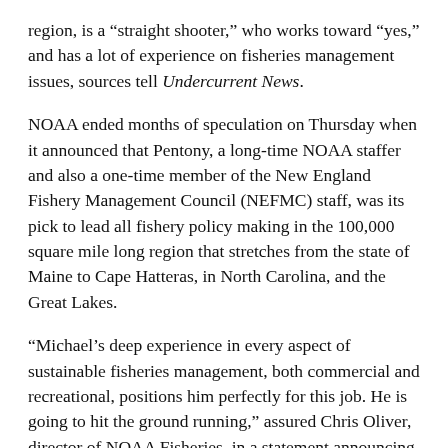region, is a “straight shooter,” who works toward “yes,” and has a lot of experience on fisheries management issues, sources tell Undercurrent News.
NOAA ended months of speculation on Thursday when it announced that Pentony, a long-time NOAA staffer and also a one-time member of the New England Fishery Management Council (NEFMC) staff, was its pick to lead all fishery policy making in the 100,000 square mile long region that stretches from the state of Maine to Cape Hatteras, in North Carolina, and the Great Lakes.
“Michael’s deep experience in every aspect of sustainable fisheries management, both commercial and recreational, positions him perfectly for this job. He is going to hit the ground running,” assured Chris Oliver, director of NOAA Fisheries, in a statement announcing the decision.
Bullard announced his retirement back in July, ending a nearly six-year rein in the region’s top spot, which comes with an office in Gloucester, Massachusetts, and